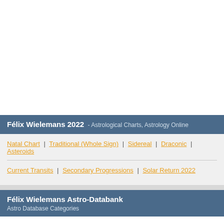Félix Wielemans 2022 - Astrological Charts, Astrology Online
Natal Chart | Traditional (Whole Sign) | Sidereal | Draconic | Asteroids
Current Transits | Secondary Progressions | Solar Return 2022
Félix Wielemans Astro-Databank
Astro Database Categories